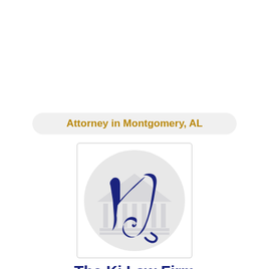Attorney in Montgomery, AL
[Figure (logo): KJ Law Firm monogram logo: stylized cursive K and J letters in navy blue on a light gray circular background with a courthouse/scales icon, enclosed in a white rectangle with thin border]
The Kj Law Firm
Quality Client Service. Trustworthy & Reliable